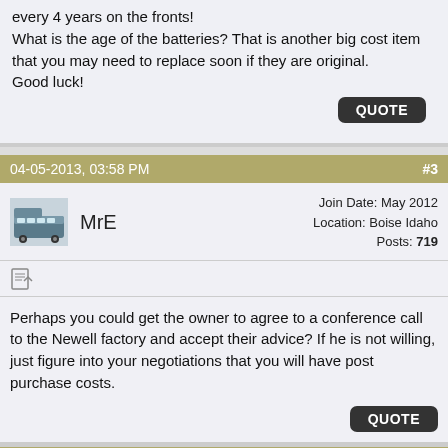every 4 years on the fronts!
What is the age of the batteries? That is another big cost item that you may need to replace soon if they are original.
Good luck!
04-05-2013, 03:58 PM
#3
MrE
Join Date: May 2012
Location: Boise Idaho
Posts: 719
Perhaps you could get the owner to agree to a conference call to the Newell factory and accept their advice? If he is not willing, just figure into your negotiations that you will have post purchase costs.
04-05-2013, 04:48 PM
#4